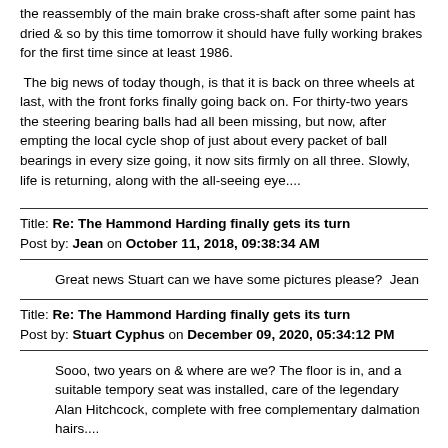the reassembly of the main brake cross-shaft after some paint has dried & so by this time tomorrow it should have fully working brakes for the first time since at least 1986.
The big news of today though, is that it is back on three wheels at last, with the front forks finally going back on. For thirty-two years the steering bearing balls had all been missing, but now, after empting the local cycle shop of just about every packet of ball bearings in every size going, it now sits firmly on all three. Slowly, life is returning, along with the all-seeing eye....
Title: Re: The Hammond Harding finally gets its turn
Post by: Jean on October 11, 2018, 09:38:34 AM
Great news Stuart can we have some pictures please?  Jean
Title: Re: The Hammond Harding finally gets its turn
Post by: Stuart Cyphus on December 09, 2020, 05:34:12 PM
Sooo, two years on & where are we? The floor is in, and a suitable tempory seat was installed, care of the legendary Alan Hitchcock, complete with free complementary dalmation hairs....
And then work slowed. For something like 18 months whilst a rather more derilict Harding Model IV discovered in Guildford